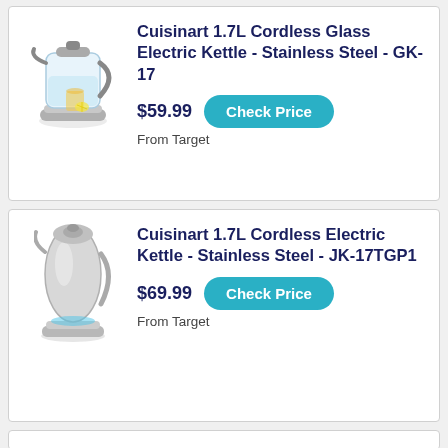[Figure (photo): Cuisinart 1.7L Cordless Glass Electric Kettle product photo with a glass of tea]
Cuisinart 1.7L Cordless Glass Electric Kettle - Stainless Steel - GK-17
$59.99  Check Price  From Target
[Figure (photo): Cuisinart 1.7L Cordless Electric Kettle product photo, stainless steel]
Cuisinart 1.7L Cordless Electric Kettle - Stainless Steel - JK-17TGP1
$69.99  Check Price  From Target